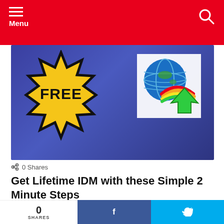Menu
[Figure (illustration): Hero image with dark blue/purple background. Left side shows a gold star-burst badge with 'FREE' text. Right side shows IDM (Internet Download Manager) logo — a globe with green arrow.]
0 Shares
Get Lifetime IDM with these Simple 2 Minute Steps
by Lily Grey
3 months ago
0
SHARES